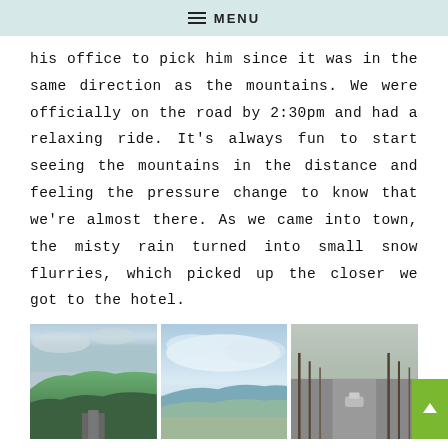MENU
his office to pick him since it was in the same direction as the mountains. We were officially on the road by 2:30pm and had a relaxing ride. It’s always fun to start seeing the mountains in the distance and feeling the pressure change to know that we’re almost there. As we came into town, the misty rain turned into small snow flurries, which picked up the closer we got to the hotel.
[Figure (photo): Three side-by-side photos taken from a car: first shows a mountain road with hills and trees, second shows a wide sky with clouds and distant mountains, third shows a grey road lined with bare winter trees.]